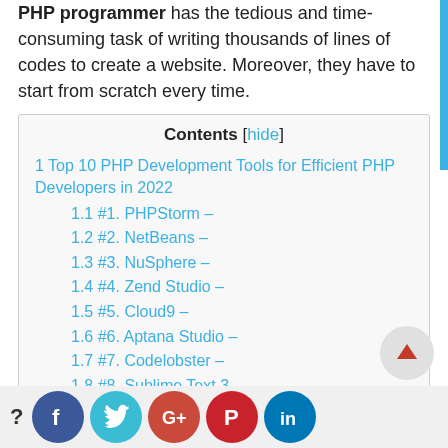PHP programmer has the tedious and time-consuming task of writing thousands of lines of codes to create a website. Moreover, they have to start from scratch every time.
Contents [hide]
1 Top 10 PHP Development Tools for Efficient PHP Developers in 2022
1.1 #1. PHPStorm –
1.2 #2. NetBeans –
1.3 #3. NuSphere –
1.4 #4.  Zend Studio –
1.5  #5. Cloud9 –
1.6 #6.  Aptana Studio –
1.7 #7. Codelobster –
1.8 #8. Sublime Text 3-
1.9 #9. PHPDebugar –